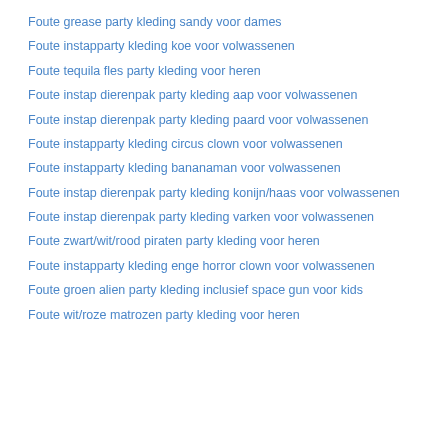Foute grease party kleding sandy voor dames
Foute instapparty kleding koe voor volwassenen
Foute tequila fles party kleding voor heren
Foute instap dierenpak party kleding aap voor volwassenen
Foute instap dierenpak party kleding paard voor volwassenen
Foute instapparty kleding circus clown voor volwassenen
Foute instapparty kleding bananaman voor volwassenen
Foute instap dierenpak party kleding konijn/haas voor volwassenen
Foute instap dierenpak party kleding varken voor volwassenen
Foute zwart/wit/rood piraten party kleding voor heren
Foute instapparty kleding enge horror clown voor volwassenen
Foute groen alien party kleding inclusief space gun voor kids
Foute wit/roze matrozen party kleding voor heren